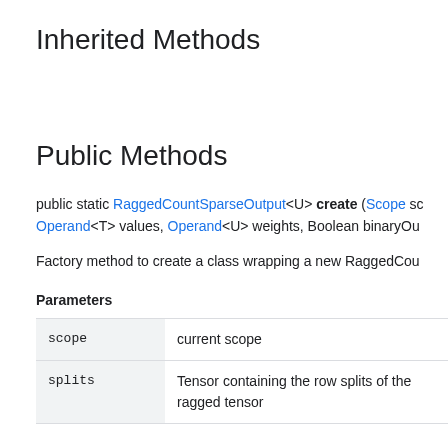Inherited Methods
Public Methods
public static RaggedCountSparseOutput<U> create (Scope scope, Operand<T> values, Operand<U> weights, Boolean binaryOut
Factory method to create a class wrapping a new RaggedCou...
Parameters
|  |  |
| --- | --- |
| scope | current scope |
| splits | Tensor containing the row splits of the ragged tensor |